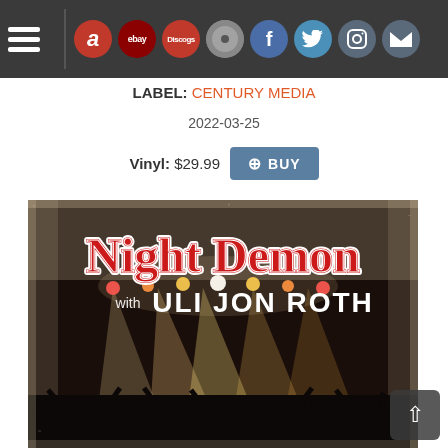Navigation bar with hamburger menu and social/shop icons: Amazon, eBay, Discogs, RD, Facebook, Twitter, Instagram, Mail
LABEL: CENTURY MEDIA
2022-03-25
Vinyl: $29.99 BUY
[Figure (photo): Album cover art for Night Demon with Uli Jon Roth. Shows the band name 'Night Demon' in large red gothic lettering with white outline, and 'with ULI JON ROTH' in white text below. Background is a concert scene with colorful stage lights and audience silhouettes in the foreground.]